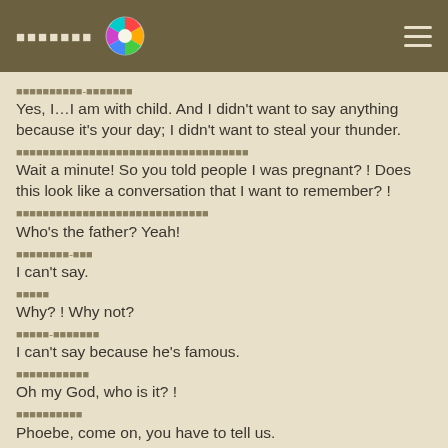XXXXXXX [logo] [menu]
XXXXXXXXXX-XXXXXXX
Yes, I…I am with child. And I didn't want to say anything because it's your day; I didn't want to steal your thunder.
XXXXXXXXXXXXXXXXXXXXXXXXXXXXXXXXXX
Wait a minute! So you told people I was pregnant? ! Does this look like a conversation that I want to remember? !
XXXXXXXXXXXXXXXXXXXXXXXXXXXXXXX
Who's the father? Yeah!
XXXXXXXX-XXX
I can't say.
XXXXX
Why? ! Why not?
XXXXX-XXXXXXX
I can't say because he's famous.
XXXXXXXXXXX
Oh my God, who is it? !
XXXXXXXXXX
Phoebe, come on, you have to tell us.
XXXXXXXXXXX